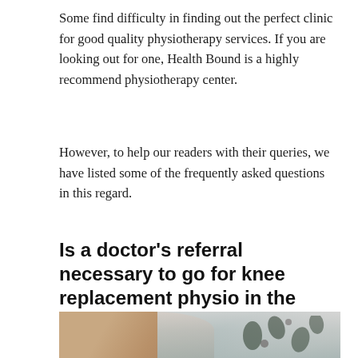Some find difficulty in finding out the perfect clinic for good quality physiotherapy services. If you are looking out for one, Health Bound is a highly recommend physiotherapy center.
However, to help our readers with their queries, we have listed some of the frequently asked questions in this regard.
Is a doctor’s referral necessary to go for knee replacement physio in the community?
[Figure (photo): A person's arm resting on a floral-patterned fabric, suggesting a clinical or home care context for physiotherapy.]